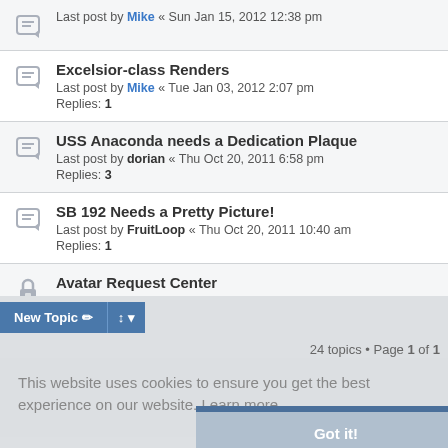Last post by Mike « Sun Jan 15, 2012 12:38 pm
Excelsior-class Renders
Last post by Mike « Tue Jan 03, 2012 2:07 pm
Replies: 1
USS Anaconda needs a Dedication Plaque
Last post by dorian « Thu Oct 20, 2011 6:58 pm
Replies: 3
SB 192 Needs a Pretty Picture!
Last post by FruitLoop « Thu Oct 20, 2011 10:40 am
Replies: 1
Avatar Request Center
Last post by Wellington « Fri May 21, 2010 8:19 pm
Replies: 44
New Topic
24 topics • Page 1 of 1
This website uses cookies to ensure you get the best experience on our website. Learn more
Got it!
Forum permissions
You cannot post new topics in this forum